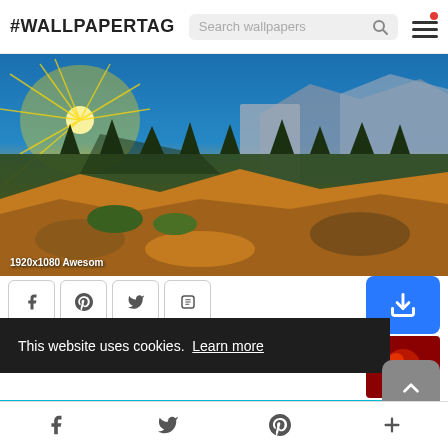#WALLPAPERTAG — Search wallpapers (search bar) — hamburger menu with red dot
[Figure (photo): Dramatic sunset landscape photo of Yosemite-style canyon with rocky cliffs, pine forest, and orange/gold sky with sun rays. Label: 1920x1080 Awesom]
1920x1080 Awesom
[Figure (screenshot): Social share buttons: Facebook, Pinterest, Twitter, Tumblr icons in bordered boxes, and a blue download button on the right]
This website uses cookies.  Learn more
Got it!
Facebook icon   Twitter icon   Pinterest icon   Plus icon